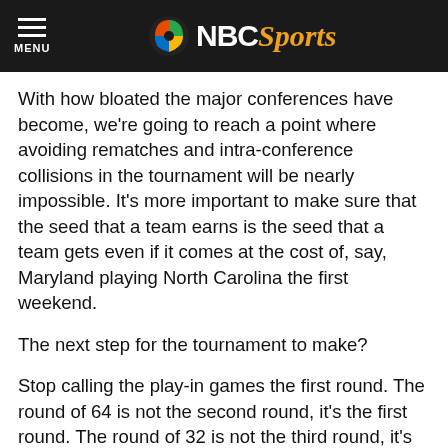NBC Sports
With how bloated the major conferences have become, we're going to reach a point where avoiding rematches and intra-conference collisions in the tournament will be nearly impossible. It's more important to make sure that the seed that a team earns is the seed that a team gets even if it comes at the cost of, say, Maryland playing North Carolina the first weekend.
The next step for the tournament to make?
Stop calling the play-in games the first round. The round of 64 is not the second round, it's the first round. The round of 32 is not the third round, it's the second round. This is not only counterintuitive and, arguably, the dumbest thing in the history of college basketball, but it also gets everyone confused when we're use historical data.